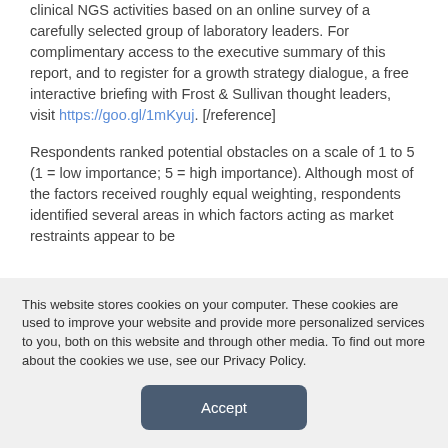clinical NGS activities based on an online survey of a carefully selected group of laboratory leaders. For complimentary access to the executive summary of this report, and to register for a growth strategy dialogue, a free interactive briefing with Frost & Sullivan thought leaders, visit https://goo.gl/1mKyuj. [/reference]
Respondents ranked potential obstacles on a scale of 1 to 5 (1 = low importance; 5 = high importance). Although most of the factors received roughly equal weighting, respondents identified several areas in which factors acting as market restraints appear to be
This website stores cookies on your computer. These cookies are used to improve your website and provide more personalized services to you, both on this website and through other media. To find out more about the cookies we use, see our Privacy Policy.